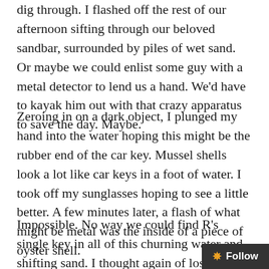dig through. I flashed off the rest of our afternoon sifting through our beloved sandbar, surrounded by piles of wet sand. Or maybe we could enlist some guy with a metal detector to lend us a hand. We'd have to kayak him out with that crazy apparatus to save the day. Maybe.
Zeroing in on a dark object, I plunged my hand into the water hoping this might be the rubber end of the car key. Mussel shells look a lot like car keys in a foot of water. I took off my sunglasses hoping to see a little better. A few minutes later, a flash of what might be metal was the inside of a piece of oyster shell.
Impossible. No way we could find R's single key in all of this churning water and shifting sand. I thought again of lost causes, of Saints, of prayer – something I don't do much, vague as I am in b